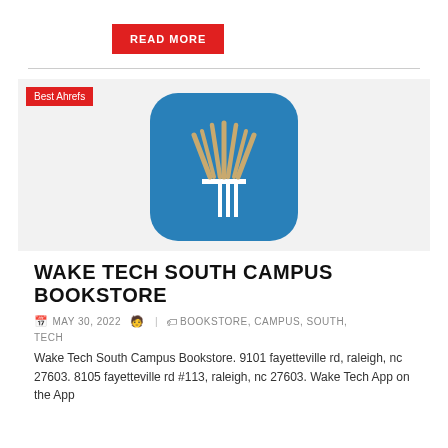READ MORE
[Figure (logo): Wake Tech South Campus Bookstore app icon — blue rounded square with gold torch/wheat logo in white and gold]
WAKE TECH SOUTH CAMPUS BOOKSTORE
MAY 30, 2022 | BOOKSTORE, CAMPUS, SOUTH, TECH
Wake Tech South Campus Bookstore. 9101 fayetteville rd, raleigh, nc 27603. 8105 fayetteville rd #113, raleigh, nc 27603. Wake Tech App on the App